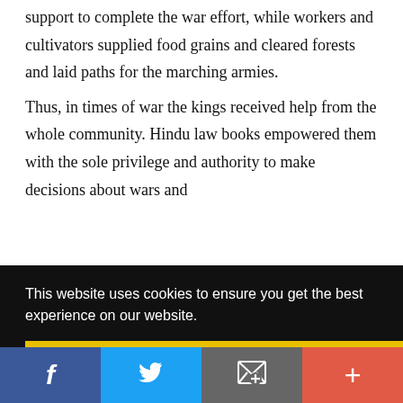support to complete the war effort, while workers and cultivators supplied food grains and cleared forests and laid paths for the marching armies.
Thus, in times of war the kings received help from the whole community. Hindu law books empowered them with the sole privilege and authority to make decisions about wars and
[Figure (screenshot): Cookie consent overlay with black background. Text: 'This website uses cookies to ensure you get the best experience on our website.' with a yellow 'Got it!' button. Partial article text visible to the right (letters 'o', 'tue', 'nd').]
[Figure (screenshot): Social media share bar at bottom with four buttons: Facebook (blue), Twitter (blue), Email/envelope (grey), Plus/more (red-orange).]